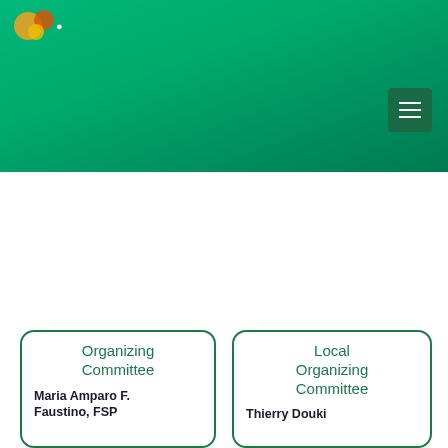[Figure (other): Green gradient header background with logo area and hamburger menu button]
Organizing Committee
Maria Amparo F. Faustino, FSP
Local Organizing Committee
Thierry Douki